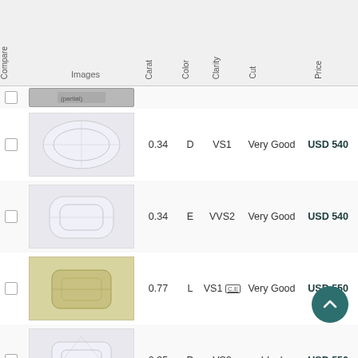| Compare | Images | Carat | Color | Clarity | Cut | Price | Details |
| --- | --- | --- | --- | --- | --- | --- | --- |
|  |  | 0.34 | D | VS1 | Very Good | USD 540 | › |
|  |  | 0.34 | E | VVS2 | Very Good | USD 540 | › |
|  |  | 0.77 | L | VS1 C.E | Very Good | USD 550 | › |
|  |  | 0.35 | D | VS2 | Ideal | USD 550 | › |
|  |  | 0.35 | F | VS1 | Ideal | USD 550 | › |